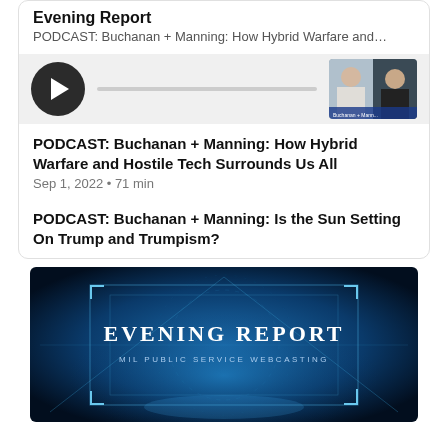Evening Report
PODCAST: Buchanan + Manning: How Hybrid Warfare and…
[Figure (screenshot): Podcast player bar with play button and thumbnail of two men]
PODCAST: Buchanan + Manning: How Hybrid Warfare and Hostile Tech Surrounds Us All
Sep 1, 2022 • 71 min
PODCAST: Buchanan + Manning: Is the Sun Setting On Trump and Trumpism?
[Figure (screenshot): Evening Report video thumbnail with text 'EVENING REPORT' and 'MIL PUBLIC SERVICE WEBCASTING' on blue tech background]